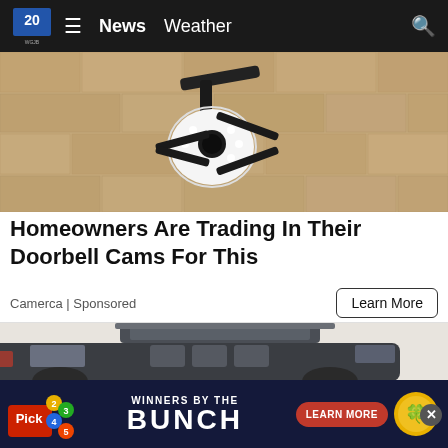20 WGJB | News  Weather
[Figure (photo): Security camera mounted on a wall with bright LED ring lights, close-up view on textured stone/concrete wall]
Homeowners Are Trading In Their Doorbell Cams For This
Camerca | Sponsored
Learn More
[Figure (photo): Dark gray SUV with open panoramic sunroof/roof opening, showing interior seats, on light background]
[Figure (advertisement): Pick 2345 lottery ad: WINNERS BY THE BUNCH with LEARN MORE button and lottery logo on dark navy background]